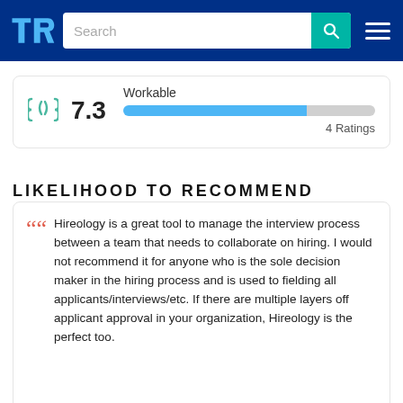TrustRadius — Search bar header
[Figure (infographic): Workable rating card showing score 7.3 out of 10 with a blue progress bar and 4 Ratings]
LIKELIHOOD TO RECOMMEND
Hireology is a great tool to manage the interview process between a team that needs to collaborate on hiring. I would not recommend it for anyone who is the sole decision maker in the hiring process and is used to fielding all applicants/interviews/etc. If there are multiple layers off applicant approval in your organization, Hireology is the perfect too.